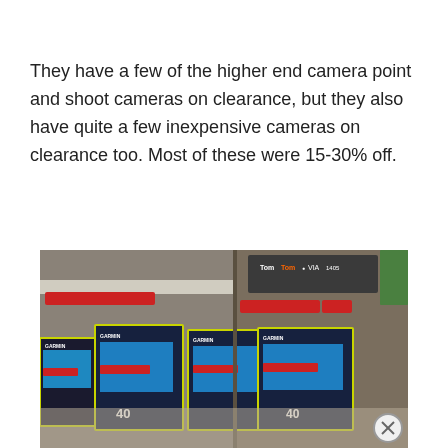They have a few of the higher end camera point and shoot cameras on clearance, but they also have quite a few inexpensive cameras on clearance too. Most of these were 15-30% off.
[Figure (photo): Photo of retail store shelf showing Garmin GPS navigation device boxes with yellow-green borders, a TomTom VIA box visible top right, and red clearance sale tags on the shelf edges.]